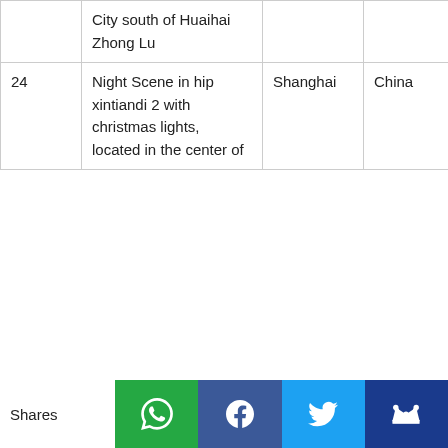|  | Description | City | Country | Camera |  |
| --- | --- | --- | --- | --- | --- |
|  | City south of Huaihai Zhong Lu |  |  |  |  |
| 24 | Night Scene in hip xintiandi 2 with christmas lights, located in the center of | Shanghai | China | Canon 7d | 12 |